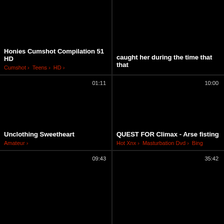[Figure (screenshot): Video thumbnail card: Honies Cumshot Compilation 51 HD, tags: Cumshot, Teens, HD]
[Figure (screenshot): Video thumbnail card: caught her during the time that that]
[Figure (screenshot): Video thumbnail card: Unclothing Sweetheart, duration 01:11, tags: Amateur]
[Figure (screenshot): Video thumbnail card: QUEST FOR Climax - Arse fisting, duration 10:00, tags: Hot Xnx, Masturbation Dvd, Bing]
[Figure (screenshot): Video thumbnail card: bottom-left, duration 09:43, partially visible]
[Figure (screenshot): Video thumbnail card: bottom-right, duration 35:42, partially visible]